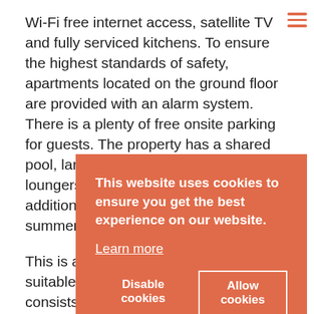Wi-Fi free internet access, satellite TV and fully serviced kitchens. To ensure the highest standards of safety, apartments located on the ground floor are provided with an alarm system. There is a plenty of free onsite parking for guests. The property has a shared pool, large pool deck and plenty of loungers that will provide you with an additional dose of relaxation in warm summer days.
This is a ground floor apartment, suitable for up to three persons. It consists of kitchen, bedroom, bathroom, living room, storage room, balcony with view of the garden and swimming pool. The kitchen is fully furnished and includes microwave, kettle, coffee maker, hair dryer, satellite TV and safe box. The apartment has Wi-Fi free internet access and is fully furnished. Free parking is provided onsite. The property has a shared pool that will provide you with an additional dose of relaxation in warm summer days. If you do not want to
This website uses cookies to ensure you get the best experience on our website. Learn more
Disable cookies
Allow cookies